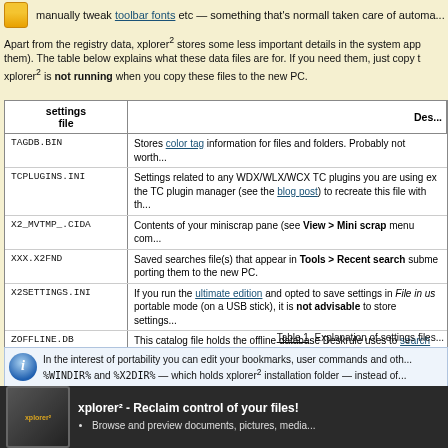manually tweak toolbar fonts etc — something that's normall taken care of automa...
Apart from the registry data, xplorer² stores some less important details in the system app them). The table below explains what these data files are for. If you need them, just copy t xplorer² is not running when you copy these files to the new PC.
| settings file | Des... |
| --- | --- |
| TAGDB.BIN | Stores color tag information for files and folders. Probably not worth... |
| TCPLUGINS.INI | Settings related to any WDX/WLX/WCX TC plugins you are using ex the TC plugin manager (see the blog post) to recreate this file with th... |
| X2_MVTMP_.CIDA | Contents of your miniscrap pane (see View > Mini scrap menu com... |
| XXX.X2FND | Saved searches file(s) that appear in Tools > Recent search subme porting them to the new PC. |
| X2SETTINGS.INI | If you run the ultimate edition and opted to save settings in File in us portable mode (on a USB stick), it is not advisable to store settings... |
| ZOFFLINE.DB | This catalog file holds the offline database Deskrule uses to search i definitely copy it across so you don't have to recreate the database i... |
Table 1. Explanation of settings files...
In the interest of portability you can edit your bookmarks, user commands and oth... %WINDIR% and %X2DIR% — which holds xplorer² installation folder — instead of...
Post a comment on this topic »
[Figure (infographic): Share buttons: Share, Twitter, Facebook, Mix, Digg, Reddit]
[Figure (infographic): Footer with xplorer2 logo and tagline: xplorer² - Reclaim control of your files! with bullet points]